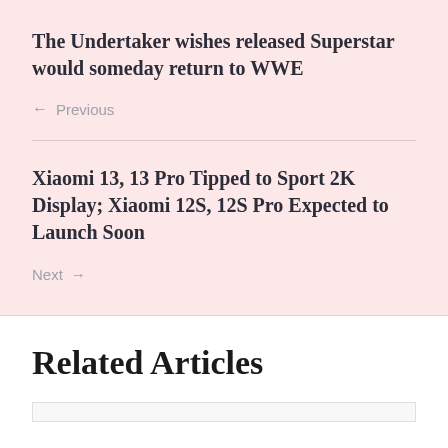The Undertaker wishes released Superstar would someday return to WWE
← Previous
Xiaomi 13, 13 Pro Tipped to Sport 2K Display; Xiaomi 12S, 12S Pro Expected to Launch Soon
Next →
Related Articles